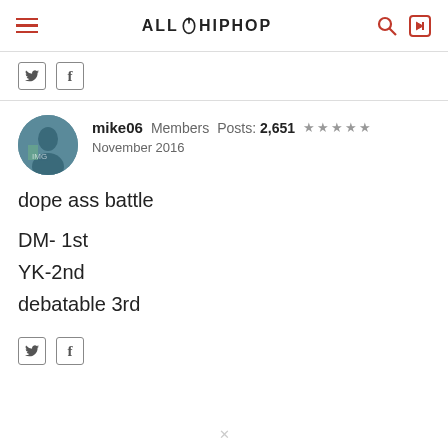AllHipHop
[Figure (other): Share icons: Twitter bird icon and Facebook f icon]
mike06  Members  Posts: 2,651  ★★★★★  November 2016
dope ass battle

DM- 1st
YK-2nd
debatable 3rd
[Figure (other): Share icons: Twitter bird icon and Facebook f icon]